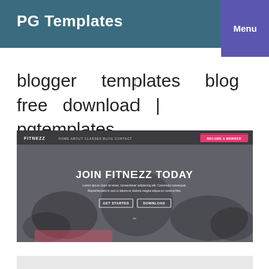PG Templates
Menu
blogger templates blog free download | pgtemplates
[Figure (screenshot): Screenshot of a fitness website template called FITNEZZ showing a hero section with people exercising on yoga mats, a navigation bar with a pink 'BECOME A MEMBER' button, large heading 'JOIN FITNEZZ TODAY' with Lorem ipsum subtext, and two CTA buttons 'GET STARTED' and 'DOWNLOAD'.]